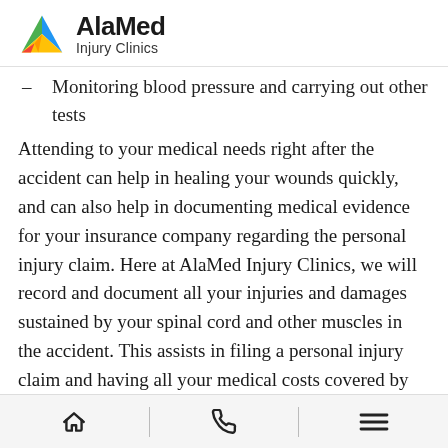AlaMed Injury Clinics
Monitoring blood pressure and carrying out other tests
Attending to your medical needs right after the accident can help in healing your wounds quickly, and can also help in documenting medical evidence for your insurance company regarding the personal injury claim. Here at AlaMed Injury Clinics, we will record and document all your injuries and damages sustained by your spinal cord and other muscles in the accident. This assists in filing a personal injury claim and having all your medical costs covered by insurance. It is recommended to visit a doctor
home | phone | menu